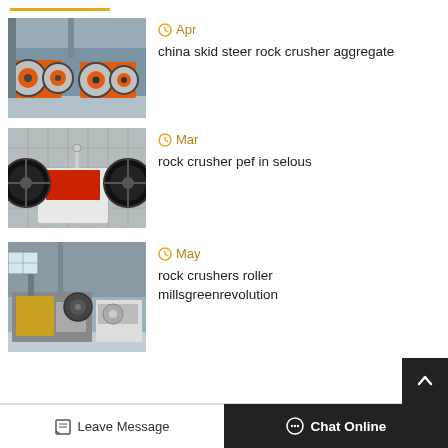[Figure (photo): Orange and grey jaw crusher machines in a factory setting]
Apr
china skid steer rock crusher aggregate
[Figure (photo): White jaw crusher with large black flywheels]
Mar
rock crusher pef in selous
[Figure (photo): Industrial rock crusher and mill equipment in a factory]
May
rock crushers roller millsgreenrevolution
Leave Message  Chat Online